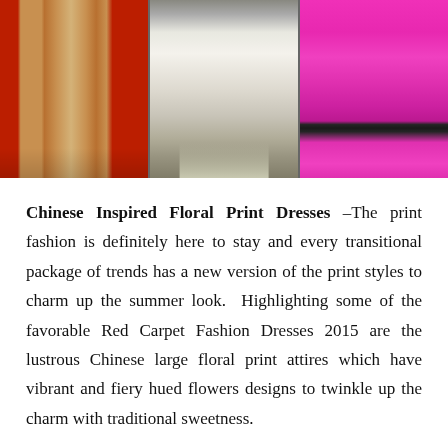[Figure (photo): Three fashion photos side by side showing women's outfits from the waist/leg down: left panel shows camel/tan wide-leg trousers against red background, center panel shows a white/silver floor-length gown with strappy heels, right panel shows bright pink/magenta cropped trousers with black heels against red carpet background.]
Chinese Inspired Floral Print Dresses –The print fashion is definitely here to stay and every transitional package of trends has a new version of the print styles to charm up the summer look.  Highlighting some of the favorable Red Carpet Fashion Dresses 2015 are the lustrous Chinese large floral print attires which have vibrant and fiery hued flowers designs to twinkle up the charm with traditional sweetness.